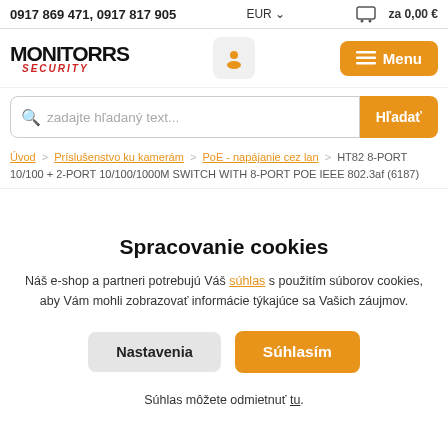0917 869 471, 0917 817 905 | EUR | za 0,00 €
[Figure (logo): MONITORRS SECURITY logo with orange user icon and orange Menu button]
zadajte hľadaný text...
Úvod > Príslušenstvo ku kamerám > PoE - napájanie cez lan > HT82 8-PORT 10/100 + 2-PORT 10/100/1000M SWITCH WITH 8-PORT POE IEEE 802.3af (6187)
Spracovanie cookies
Náš e-shop a partneri potrebujú Váš súhlas s použitím súborov cookies, aby Vám mohli zobrazovať informácie týkajúce sa Vašich záujmov.
Nastavenia
Súhlasím
Súhlas môžete odmietnuť tu.